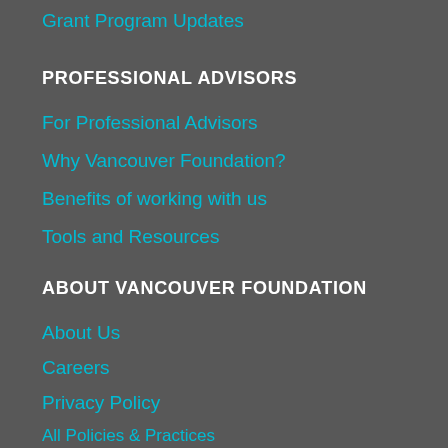Grant Program Updates
PROFESSIONAL ADVISORS
For Professional Advisors
Why Vancouver Foundation?
Benefits of working with us
Tools and Resources
ABOUT VANCOUVER FOUNDATION
About Us
Careers
Privacy Policy
All Policies & Practices
DONATE NOW